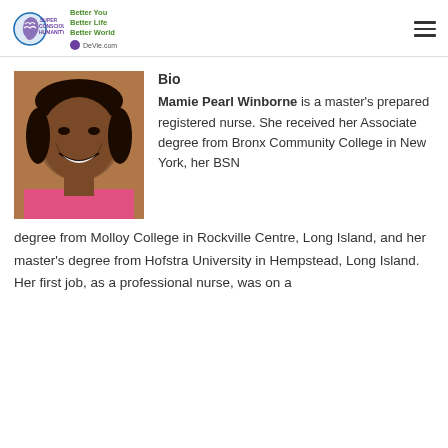Super Conscious Humanity — Better You Better Life Better World — DeVie.com
[Figure (photo): Portrait photo of Mamie Pearl Winborne, a smiling woman wearing pink and dangling earrings]
Bio
Mamie Pearl Winborne is a master's prepared registered nurse. She received her Associate degree from Bronx Community College in New York, her BSN degree from Molloy College in Rockville Centre, Long Island, and her master's degree from Hofstra University in Hempstead, Long Island. Her first job, as a professional nurse, was on a